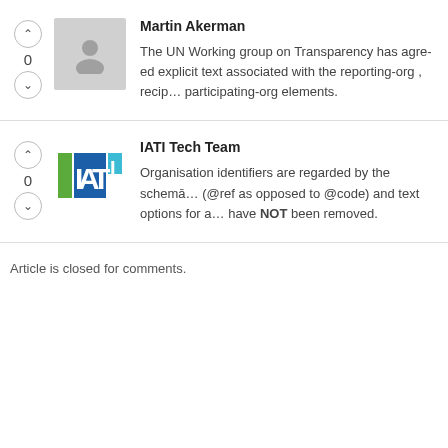Martin Akerman
The UN Working group on Transparency has agreed explicit text associated with the reporting-org , recip... participating-org elements.
IATI Tech Team
Organisation identifiers are regarded by the schema... (@ref as opposed to @code) and text options for a... have NOT been removed.
Article is closed for comments.